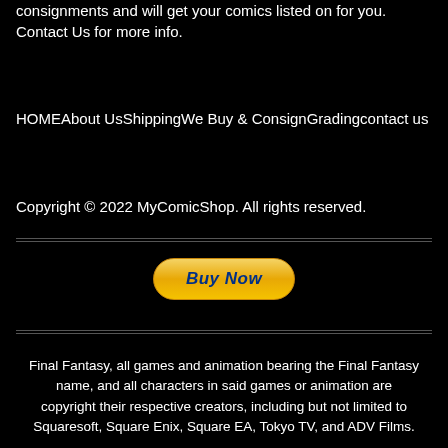consignments and will get your comics listed on for you. Contact Us for more info.
HOMEAbout UsShippingWe Buy & ConsignGradingcontact us
Copyright © 2022 MyComicShop. All rights reserved.
[Figure (other): PayPal Buy Now button]
Final Fantasy, all games and animation bearing the Final Fantasy name, and all characters in said games or animation are copyright their respective creators, including but not limited to Squaresoft, Square Enix, Square EA, Tokyo TV, and ADV Films.